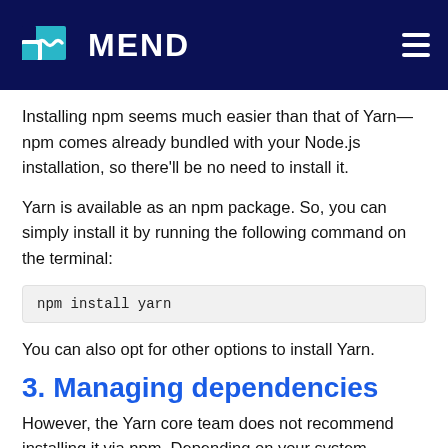MEND
Installing npm seems much easier than that of Yarn—npm comes already bundled with your Node.js installation, so there'll be no need to install it.
Yarn is available as an npm package. So, you can simply install it by running the following command on the terminal:
You can also opt for other options to install Yarn.
3. Managing dependencies
However, the Yarn core team does not recommend installing it via npm. Depending on your system requirements, you can go for any of these installation